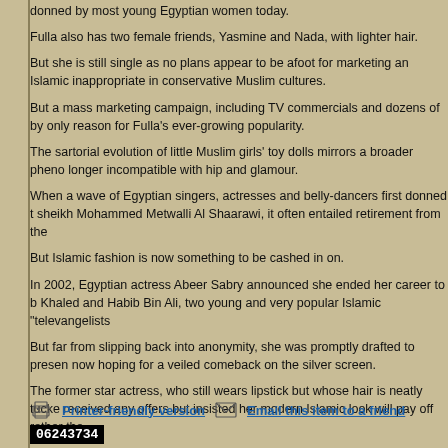donned by most young Egyptian women today.
Fulla also has two female friends, Yasmine and Nada, with lighter hair.
But she is still single as no plans appear to be afoot for marketing an Islamic inappropriate in conservative Muslim cultures.
But a mass marketing campaign, including TV commercials and dozens of by only reason for Fulla's ever-growing popularity.
The sartorial evolution of little Muslim girls' toy dolls mirrors a broader pheno longer incompatible with hip and glamour.
When a wave of Egyptian singers, actresses and belly-dancers first donned t sheikh Mohammed Metwalli Al Shaarawi, it often entailed retirement from the
But Islamic fashion is now something to be cashed in on.
In 2002, Egyptian actress Abeer Sabry announced she ended her career to b Khaled and Habib Bin Ali, two young and very popular Islamic "televangelists
But far from slipping back into anonymity, she was promptly drafted to presen now hoping for a veiled comeback on the silver screen.
The former star actress, who still wears lipstick but whose hair is neatly tucke received any offers but insisted her modern Islamic look will pay off rather tha
"About 70 percent of Egyptian women are veiled, and women and girls would recently.
Printer-friendly version   Email this item to a friend
06243734